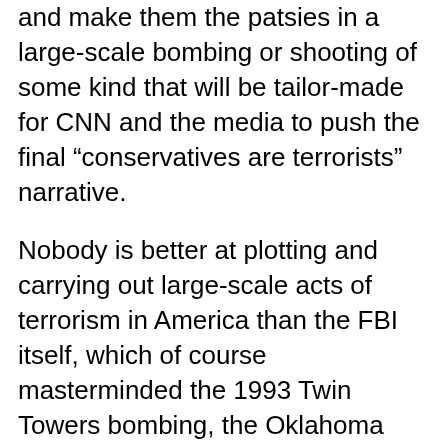and make them the patsies in a large-scale bombing or shooting of some kind that will be tailor-made for CNN and the media to push the final “conservatives are terrorists” narrative.
Nobody is better at plotting and carrying out large-scale acts of terrorism in America than the FBI itself, which of course masterminded the 1993 Twin Towers bombing, the Oklahoma City bombing, the Waco affair (with the help of the ATF), and the 9/11 attack in NYC. The FBI was behind each of them, running the ops, recruiting the “terrorists” and providing intelligence, hardware, and technical assistance to carry out the attacks.